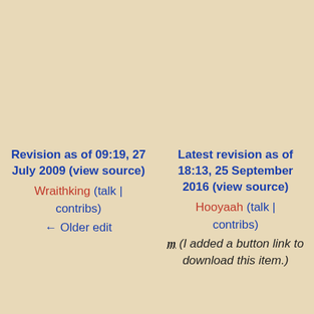Revision as of 09:19, 27 July 2009 (view source)
Wraithking (talk | contribs)
← Older edit
Latest revision as of 18:13, 25 September 2016 (view source)
Hooyaah (talk | contribs)
m (I added a button link to download this item.)